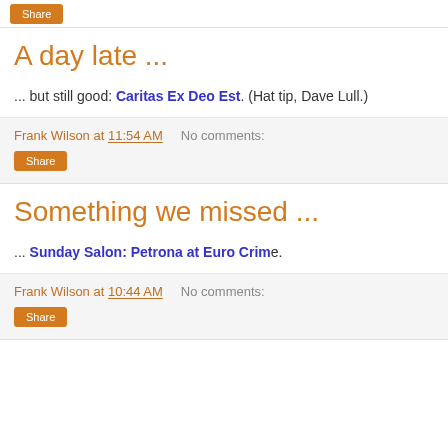A day late ...
... but still good: Caritas Ex Deo Est. (Hat tip, Dave Lull.)
Frank Wilson at 11:54 AM   No comments:
Something we missed ...
... Sunday Salon: Petrona at Euro Crime.
Frank Wilson at 10:44 AM   No comments: